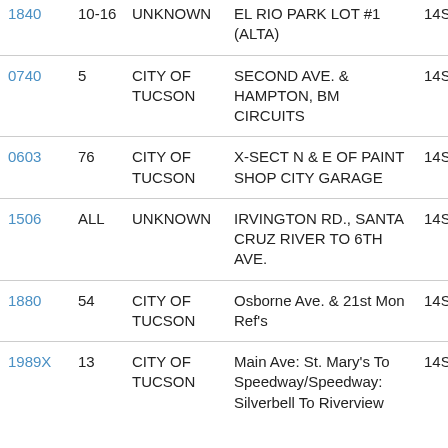| ID | NUM | OWNER | LOCATION | CODE |
| --- | --- | --- | --- | --- |
| 1840 | 10-16 | UNKNOWN | EL RIO PARK LOT #1 (ALTA) | 14S |
| 0740 | 5 | CITY OF TUCSON | SECOND AVE. & HAMPTON, BM CIRCUITS | 14S |
| 0603 | 76 | CITY OF TUCSON | X-SECT N & E OF PAINT SHOP CITY GARAGE | 14S |
| 1506 | ALL | UNKNOWN | IRVINGTON RD., SANTA CRUZ RIVER TO 6TH AVE. | 14S |
| 1880 | 54 | CITY OF TUCSON | Osborne Ave. & 21st Mon Ref's | 14S |
| 1989X | 13 | CITY OF TUCSON | Main Ave: St. Mary's To Speedway/Speedway: Silverbell To Riverview | 14S |